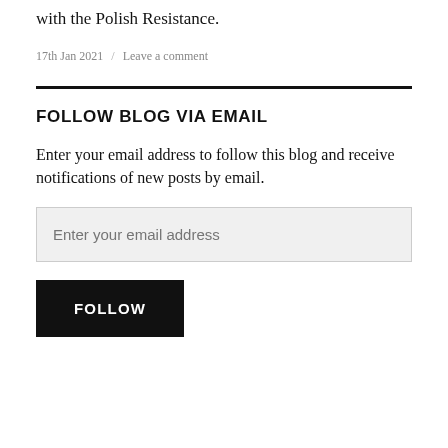with the Polish Resistance.
17th Jan 2021  /  Leave a comment
FOLLOW BLOG VIA EMAIL
Enter your email address to follow this blog and receive notifications of new posts by email.
Enter your email address
FOLLOW